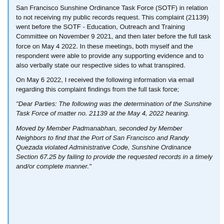San Francisco Sunshine Ordinance Task Force (SOTF) in relation to not receiving my public records request. This complaint (21139) went before the SOTF - Education, Outreach and Training Committee on November 9 2021, and then later before the full task force on May 4 2022. In these meetings, both myself and the respondent were able to provide any supporting evidence and to also verbally state our respective sides to what transpired.
On May 6 2022, I received the following information via email regarding this complaint findings from the full task force;
"Dear Parties: The following was the determination of the Sunshine Task Force of matter no. 21139 at the May 4, 2022 hearing.
Moved by Member Padmanabhan, seconded by Member Neighbors to find that the Port of San Francisco and Randy Quezada violated Administrative Code, Sunshine Ordinance Section 67.25 by failing to provide the requested records in a timely and/or complete manner."